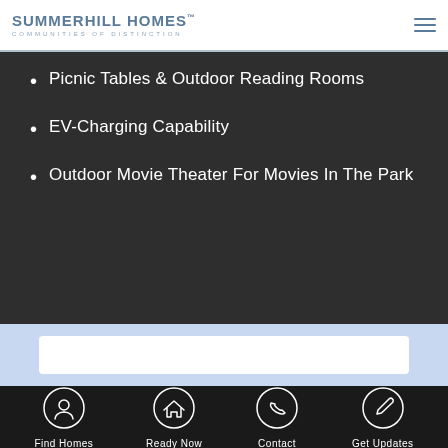SummerHill Homes – Communities of Distinction
Picnic Tables & Outdoor Reading Rooms
EV-Charging Capability
Outdoor Movie Theater For Movies In The Park
Find Homes | Ready Now | Contact | Get Updates